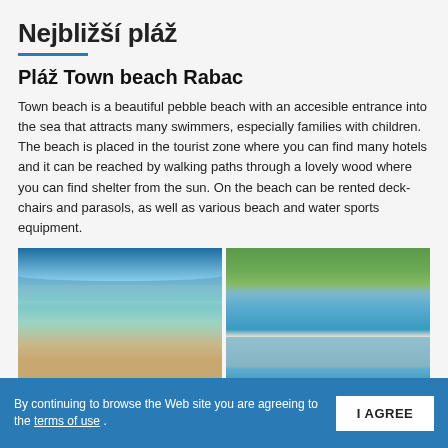Nejbližší pláž
Pláž Town beach Rabac
Town beach is a beautiful pebble beach with an accesible entrance into the sea that attracts many swimmers, especially families with children. The beach is placed in the tourist zone where you can find many hotels and it can be reached by walking paths through a lovely wood where you can find shelter from the sun. On the beach can be rented deck- chairs and parasols, as well as various beach and water sports equipment.
[Figure (photo): Two side-by-side beach photos of Rabac: left shows a pebble shoreline with clear turquoise water and sailboats; right shows an aerial view of a coastal town with white buildings, hills, and a harbor.]
By continuing to browse the Web site you are agreeing to the terms of use .